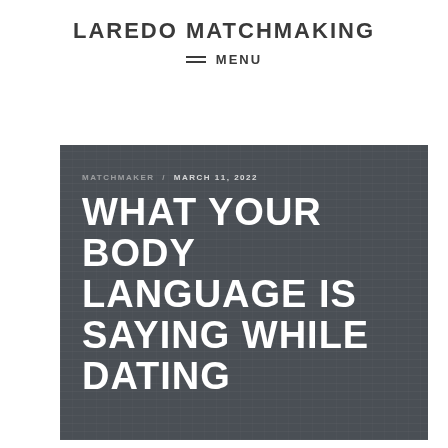LAREDO MATCHMAKING
MENU
[Figure (photo): Dark chalkboard-textured background image with text overlay showing article metadata and title: MATCHMAKER / MARCH 11, 2022 — WHAT YOUR BODY LANGUAGE IS SAYING WHILE DATING]
WHAT YOUR BODY LANGUAGE IS SAYING WHILE DATING
MATCHMAKER / MARCH 11, 2022